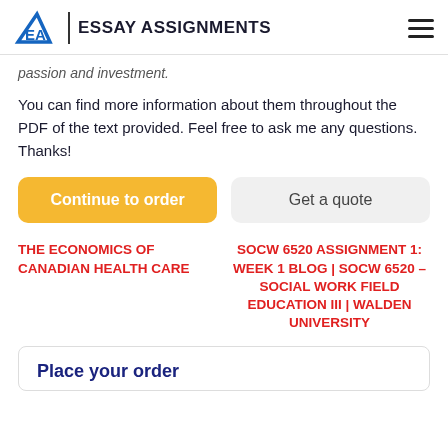EA | ESSAY ASSIGNMENTS
passion and investment.
You can find more information about them throughout the PDF of the text provided. Feel free to ask me any questions. Thanks!
Continue to order
Get a quote
THE ECONOMICS OF CANADIAN HEALTH CARE
SOCW 6520 ASSIGNMENT 1: WEEK 1 BLOG | SOCW 6520 – SOCIAL WORK FIELD EDUCATION III | WALDEN UNIVERSITY
Place your order